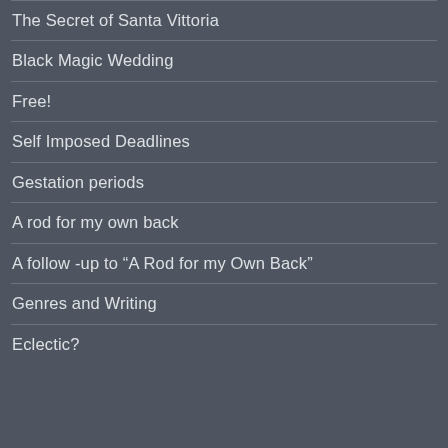The Secret of Santa Vittoria
Black Magic Wedding
Free!
Self Imposed Deadlines
Gestation periods
A rod for my own back
A follow -up to “A Rod for my Own Back”
Genres and Writing
Eclectic?